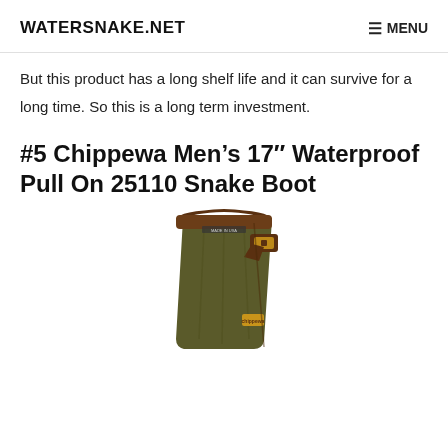WATERSNAKE.NET | MENU
But this product has a long shelf life and it can survive for a long time. So this is a long term investment.
#5 Chippewa Men's 17" Waterproof Pull On 25110 Snake Boot
[Figure (photo): A tall dark olive/brown Chippewa snake boot with brown leather trim at the top, a buckle strap on the side, and a gold Chippewa brand logo near the bottom.]